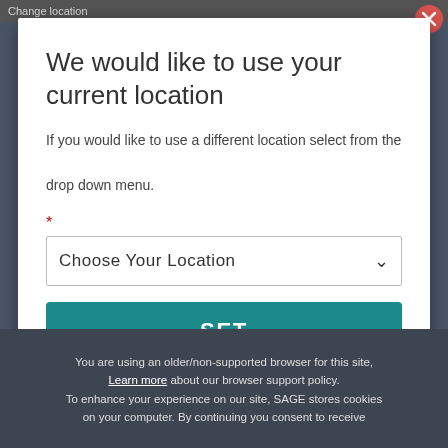Change location
We would like to use your current location
If you would like to use a different location select from the drop down menu.
* Choose Your Location (dropdown)
SET
Close
You are using an older/non-supported browser for this site, Learn more about our browser support policy. To enhance your experience on our site, SAGE stores cookies on your computer. By continuing you consent to receive